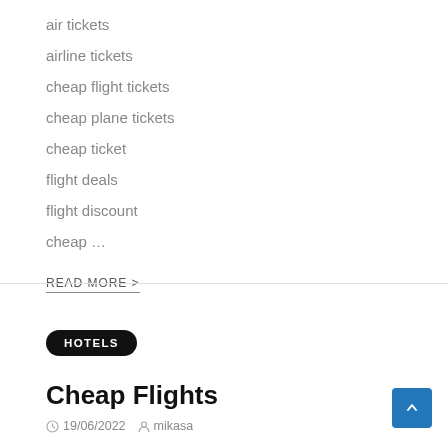air tickets
airline tickets
cheap flight tickets
cheap plane tickets
cheap ticket
flight deals
flight discount
cheap …
READ MORE >
HOTELS
Cheap Flights
19/06/2022  mikasa